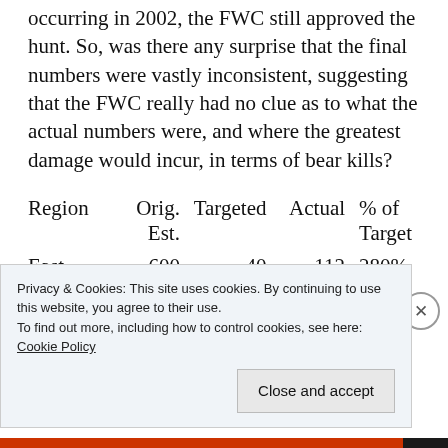occurring in 2002, the FWC still approved the hunt. So, was there any surprise that the final numbers were vastly inconsistent, suggesting that the FWC really had no clue as to what the actual numbers were, and where the greatest damage would incur, in terms of bear kills?
| Region | Orig. Est. | Targeted | Actual | % of Target |
| --- | --- | --- | --- | --- |
| East | 600 | 40 | 112 | 280% |
| North | 550 | 100 | 23 |  |